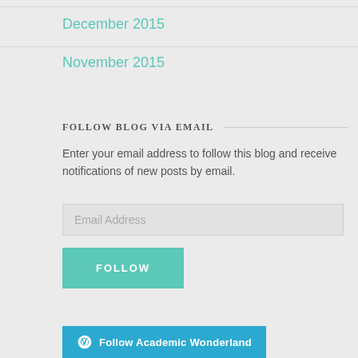December 2015
November 2015
FOLLOW BLOG VIA EMAIL
Enter your email address to follow this blog and receive notifications of new posts by email.
Email Address
FOLLOW
Follow Academic Wonderland